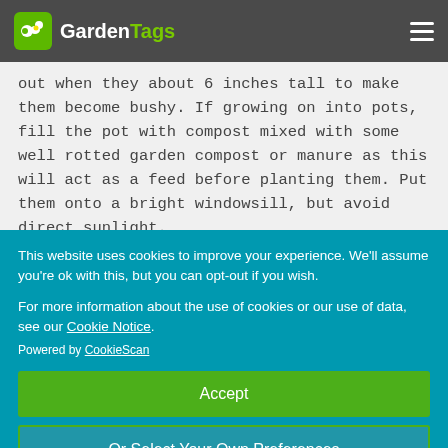GardenTags
out when they about 6 inches tall to make them become bushy. If growing on into pots, fill the pot with compost mixed with some well rotted garden compost or manure as this will act as a feed before planting them. Put them onto a bright windowsill, but avoid direct sunlight.
This website uses cookies to improve your experience. We'll assume you're ok with this, but you can opt-out if you wish.
For more information about the use of cookies or our use of data, see our Cookie Notice.
Powered by CookieScan
Accept
Or Select Your Own Preferences